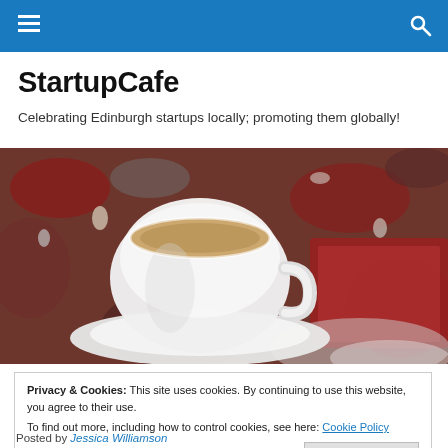StartupCafe navigation bar with hamburger menu and search icon
StartupCafe
Celebrating Edinburgh startups locally; promoting them globally!
[Figure (illustration): Artistic painting of a white coffee cup on a saucer with red and grey abstract background, book or folder visible to the right]
Privacy & Cookies: This site uses cookies. By continuing to use this website, you agree to their use.
To find out more, including how to control cookies, see here: Cookie Policy
Close and accept
Posted by Jessica Williamson